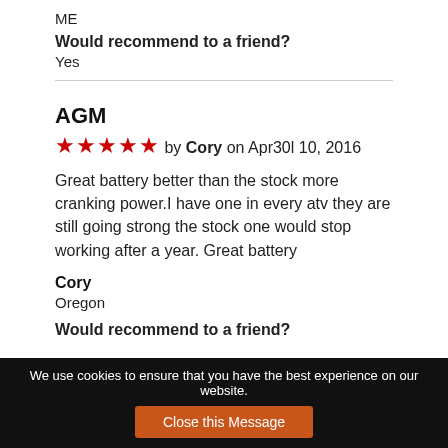ME
Would recommend to a friend?
Yes
AGM
★★★★★ by Cory on Apr30l 10, 2016
Great battery better than the stock more cranking power.I have one in every atv they are still going strong the stock one would stop working after a year. Great battery
Cory
Oregon
Would recommend to a friend?
We use cookies to ensure that you have the best experience on our website. Close this Message